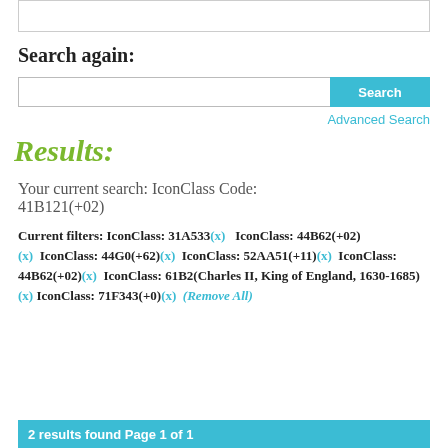Search again:
Search (input bar with Search button and Advanced Search link)
Results:
Your current search: IconClass Code: 41B121(+02)
Current filters: IconClass: 31A533(x)   IconClass: 44B62(+02)(x)   IconClass: 44G0(+62)(x)   IconClass: 52AA51(+11)(x)   IconClass: 44B62(+02)(x)   IconClass: 61B2(Charles II, King of England, 1630-1685)(x)   IconClass: 71F343(+0)(x)   (Remove All)
2 results found Page 1 of 1